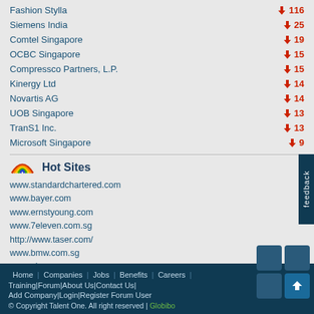Fashion Stylla — 116
Siemens India — 25
Comtel Singapore — 19
OCBC Singapore — 15
Compressco Partners, L.P. — 15
Kinergy Ltd — 14
Novartis AG — 14
UOB Singapore — 13
TranS1 Inc. — 13
Microsoft Singapore — 9
Hot Sites
www.standardchartered.com
www.bayer.com
www.ernstyoung.com
www.7eleven.com.sg
http://www.taser.com/
www.bmw.com.sg
www.aig.com.sg
www.basf.com
www.vw.com
http://www.pinnacleminds.com.sg/
Home | Companies | Jobs | Benefits | Careers | Training | Forum | About Us | Contact Us | Add Company | Login | Register Forum User | © Copyright Talent One. All right reserved | Globibo